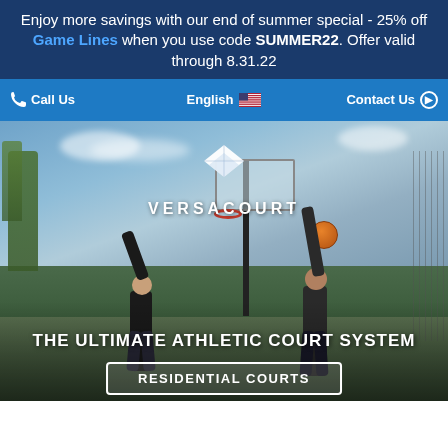Enjoy more savings with our end of summer special - 25% off Game Lines when you use code SUMMER22. Offer valid through 8.31.22
Call Us | English | Contact Us
[Figure (photo): Two men playing basketball on an outdoor court with a VersaCourt logo overlay. One player is reaching up to shoot while the other defends. Basketball hoop and backboard visible against a cloudy sky with trees in the background. Fencing surrounds the court.]
THE ULTIMATE ATHLETIC COURT SYSTEM
RESIDENTIAL COURTS